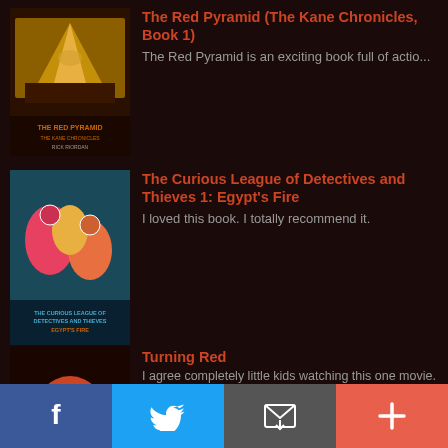[Figure (illustration): Book cover of The Red Pyramid (The Kane Chronicles, Book 1) by Rick Riordan]
The Red Pyramid (The Kane Chronicles, Book 1)
The Red Pyramid is an exciting book full of actio...
[Figure (illustration): Book cover of The Curious League of Detectives and Thieves 1: Egypt's Fire]
The Curious League of Detectives and Thieves 1: Egypt's Fire
I loved this book. I totally recommend it.
[Figure (illustration): Movie/book cover of Turning Red]
Turning Red
I agree completely little kids watching this one movie.
Harry Potter and the Sorcerer's Stone (Book 1)
[Figure (illustration): Movie cover of Paws of Fury: The Legend of Hank]
Paws of Fury: The Legend of Hank
I agree not scary at all.